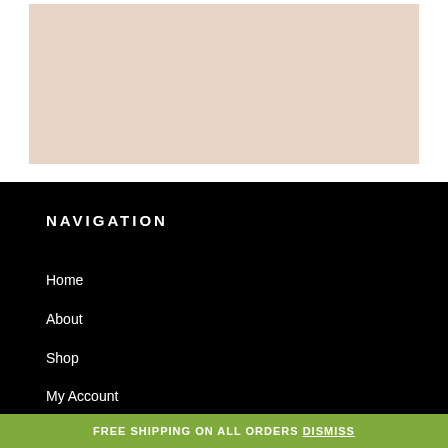[Figure (photo): A product or decorative image with a light beige/peach background tone, cropped at the top of the page.]
NAVIGATION
Home
About
Shop
My Account
Cart
FREE SHIPPING ON ALL ORDERS Dismiss